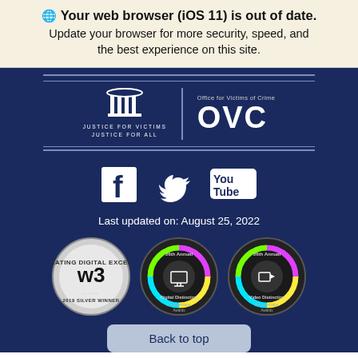🌐 Your web browser (iOS 11) is out of date. Update your browser for more security, speed, and the best experience on this site.
[Figure (logo): OVC - Office for Victims of Crime / Justice for Victims Justice for All logo with pillar icon, white on dark blue background with horizontal rule lines]
[Figure (logo): Social media icons: Facebook, Twitter, YouTube on dark blue background]
Last updated on: August 25, 2022
[Figure (logo): Three award badges: W3 2019 Silver Winner (Celebrating Digital Excellence), 26th Annual Digital Distinction Communicator Awards, 26th Annual Video Distinction Communicator Awards]
Back to top